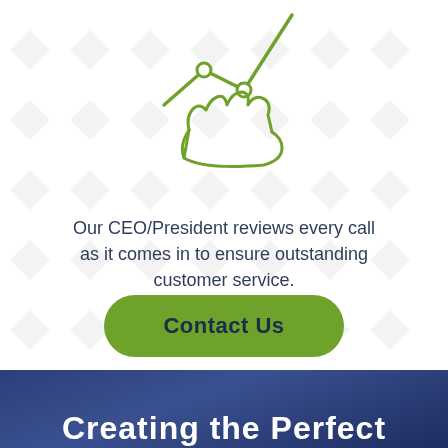[Figure (illustration): Green line-art icon of a hand holding a graph/chart with nodes and a rising line, representing data or performance tracking.]
Our CEO/President reviews every call as it comes in to ensure outstanding customer service.
[Figure (other): Green rounded rectangle button with dark navy text reading 'Contact Us']
Creating the Perfect